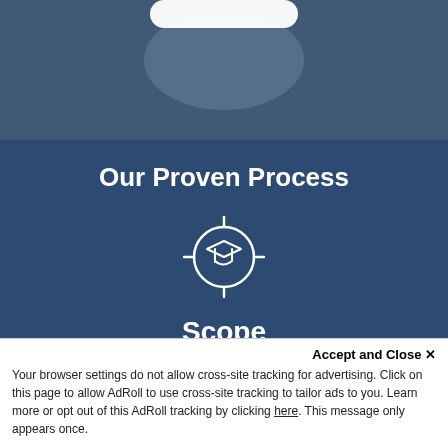[Figure (photo): Background photo showing blurred person/hands, dark blue overlay, with a white rounded rectangle shape partially visible at the top]
Our Proven Process
[Figure (illustration): White icon of a graduation cap inside a crosshair/target circle with crosshair lines extending outward]
Scope
DI learns more about your current technology and your desired future state. What do you do today? Where do you want to be? We ask questions so that we can uncover your needs and design a DeveloperAcademy® that w...
Accept and Close ✕
Your browser settings do not allow cross-site tracking for advertising. Click on this page to allow AdRoll to use cross-site tracking to tailor ads to you. Learn more or opt out of this AdRoll tracking by clicking here. This message only appears once.